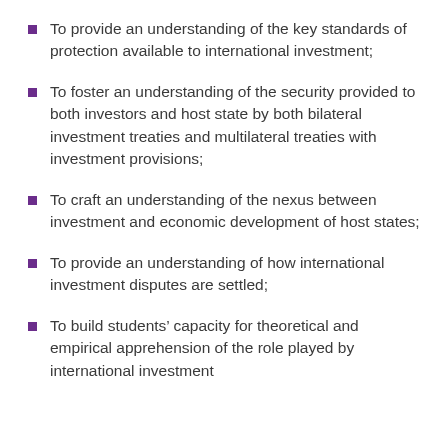To provide an understanding of the key standards of protection available to international investment;
To foster an understanding of the security provided to both investors and host state by both bilateral investment treaties and multilateral treaties with investment provisions;
To craft an understanding of the nexus between investment and economic development of host states;
To provide an understanding of how international investment disputes are settled;
To build students’ capacity for theoretical and empirical apprehension of the role played by international investment